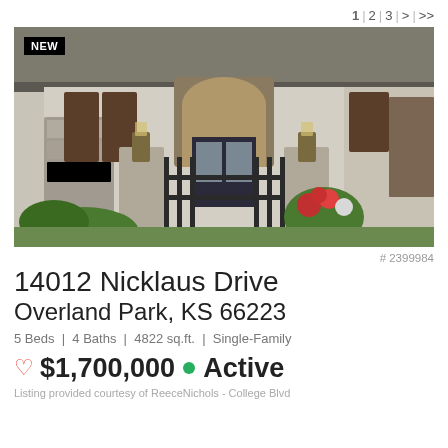1 | 2 | 3 | > | >>
[Figure (photo): Exterior photo of a stone and stucco luxury home with arched entry, iron gate, lantern post lights, brown wood shutters, and flower planters. Badge reading NEW in top left corner.]
# 2399984
14012 Nicklaus Drive
Overland Park, KS 66223
5 Beds | 4 Baths | 4822 sq.ft. | Single-Family
♡ $1,700,000 ● Active
Listing provided courtesy of ReeceNichols - College Blvd